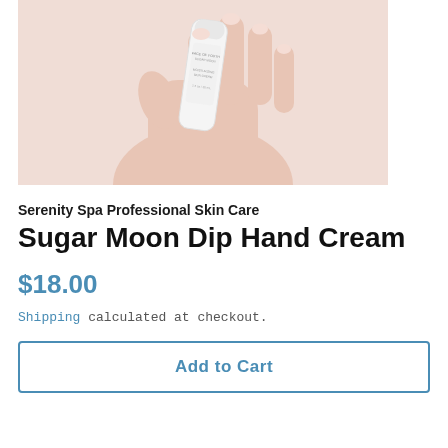[Figure (photo): A hand holding a white tube of Serenity Spa Professional Skin Care Sugar Moon Dip Hand Cream against a light pinkish-beige background.]
Serenity Spa Professional Skin Care
Sugar Moon Dip Hand Cream
$18.00
Shipping calculated at checkout.
Add to Cart